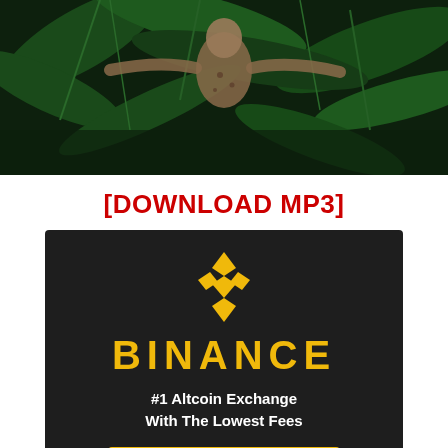[Figure (photo): A person or creature with outstretched arms against a jungle/green foliage background, dark and moody image]
[DOWNLOAD MP3]
[Figure (logo): Binance advertisement banner with gold Binance logo and diamond icon on dark background, text: BINANCE, #1 Altcoin Exchange With The Lowest Fees, LEARN MORE button]